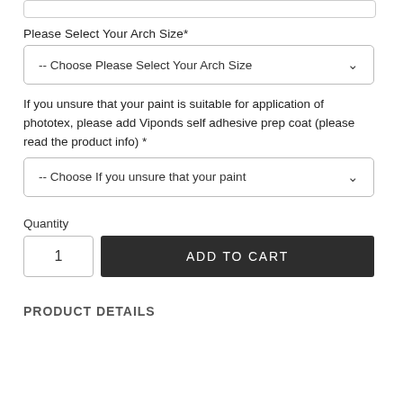[Figure (screenshot): Partial top input box (cropped at top)]
Please Select Your Arch Size*
[Figure (screenshot): Dropdown: -- Choose Please Select Your Arch Size]
If you unsure that your paint is suitable for application of phototex, please add Viponds self adhesive prep coat (please read the product info) *
[Figure (screenshot): Dropdown: -- Choose If you unsure that your paint]
Quantity
[Figure (screenshot): Quantity input box showing 1 and ADD TO CART button]
PRODUCT DETAILS